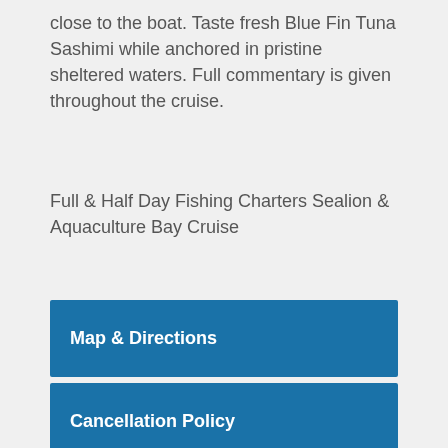close to the boat. Taste fresh Blue Fin Tuna Sashimi while anchored in pristine sheltered waters. Full commentary is given throughout the cruise.
Full & Half Day Fishing Charters Sealion & Aquaculture Bay Cruise
Map & Directions
Cancellation Policy